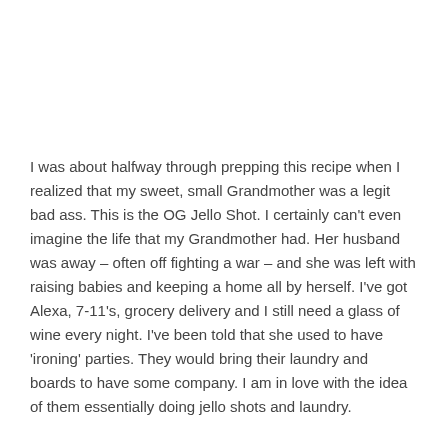I was about halfway through prepping this recipe when I realized that my sweet, small Grandmother was a legit bad ass. This is the OG Jello Shot. I certainly can't even imagine the life that my Grandmother had. Her husband was away – often off fighting a war – and she was left with raising babies and keeping a home all by herself. I've got Alexa, 7-11's, grocery delivery and I still need a glass of wine every night. I've been told that she used to have 'ironing' parties. They would bring their laundry and boards to have some company. I am in love with the idea of them essentially doing jello shots and laundry.